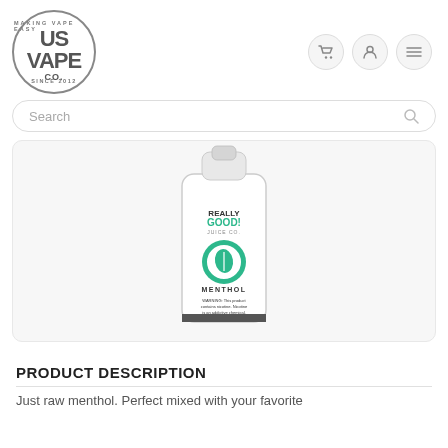US VAPE CO. - Making Vape Easy - Since 2012
[Figure (screenshot): Search bar with placeholder text 'Search' and a magnifying glass icon on the right]
[Figure (photo): Really Good Juice Co. Menthol e-liquid bottle - white bottle with green leaf logo, warning text about nicotine]
PRODUCT DESCRIPTION
Just raw menthol. Perfect mixed with your favorite